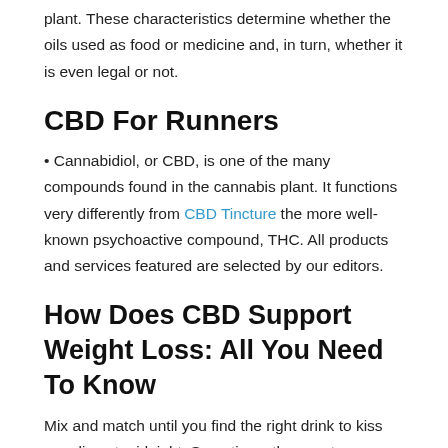plant. These characteristics determine whether the oils used as food or medicine and, in turn, whether it is even legal or not.
CBD For Runners
• Cannabidiol, or CBD, is one of the many compounds found in the cannabis plant. It functions very differently from CBD Tincture the more well-known psychoactive compound, THC. All products and services featured are selected by our editors.
How Does CBD Support Weight Loss: All You Need To Know
Mix and match until you find the right drink to kiss your lips at midnight. Sometimes the worst ingredient in a cannabis drink recipe is the CBD oil. A lot of companies cut corners because the CBD industry is unregulated. Many people mix CBD oil with a beverage to make the CBD oil taste better. However, you can take sublingual drops of CBD with CBD tinctures. When you purchase